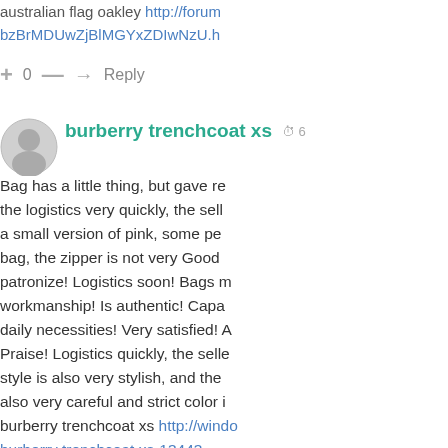australian flag oakley http://forum...bzBrMDUwZjBlMGYxZDIwNzU.h
+ 0 — → Reply
[Figure (other): User avatar - generic gray circle with person silhouette]
burberry trenchcoat xs  6 [time]
Bag has a little thing, but gave re... the logistics very quickly, the sell... a small version of pink, some pe... bag, the zipper is not very Good ... patronize! Logistics soon! Bags m... workmanship! Is authentic! Capa... daily necessities! Very satisfied! A... Praise! Logistics quickly, the selle... style is also very stylish, and the ... also very careful and strict color i... burberry trenchcoat xs http://wind... burberry trenchcoat xs-13443...